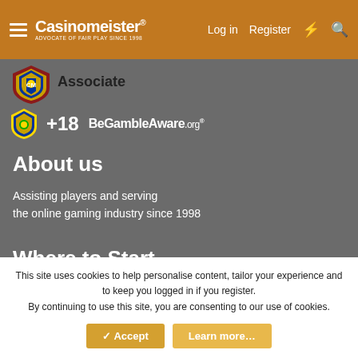Casinomeister® | Log in | Register
[Figure (logo): Casinomeister shield/badge logo with red and gold design, labeled Associate]
Associate
[Figure (logo): +18 shield icon and BeGambleAware.org logo]
About us
Assisting players and serving the online gaming industry since 1998
Where to Start
Accredited Online Casino Reviews
Online Casino Player Tips
10 Myths online Gambling
Our Philosophy
This site uses cookies to help personalise content, tailor your experience and to keep you logged in if you register. By continuing to use this site, you are consenting to our use of cookies.
✓ Accept | Learn more…